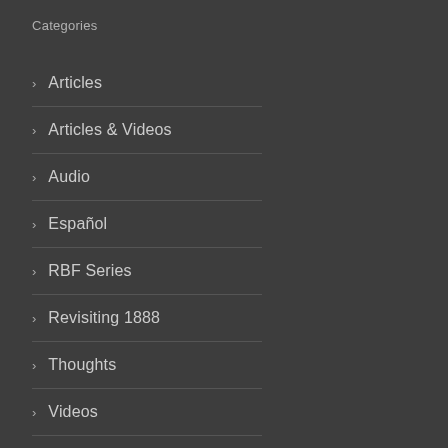Categories
Articles
Articles & Videos
Audio
Español
RBF Series
Revisiting 1888
Thoughts
Videos